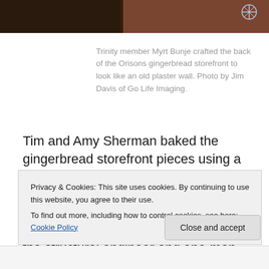[Figure (photo): Partial view of a colorful photo strip at the top of the page showing decorative holiday scene with people/objects]
Trinity member Myrt Bunje crafted the back of the Orisons gingerbread storefront to look like an old plaster wall. Photo by Jim Davis of Go Life Imaging.
Tim and Amy Sherman baked the gingerbread storefront pieces using a secret recipe to ensure the gingerbread structures would stand the test of time. Pablo Ruiz and Andrew Bender served as the architects; Bender also served as the structural engineer and one-man
Privacy & Cookies: This site uses cookies. By continuing to use this website, you agree to their use.
To find out more, including how to control cookies, see here: Cookie Policy
Close and accept